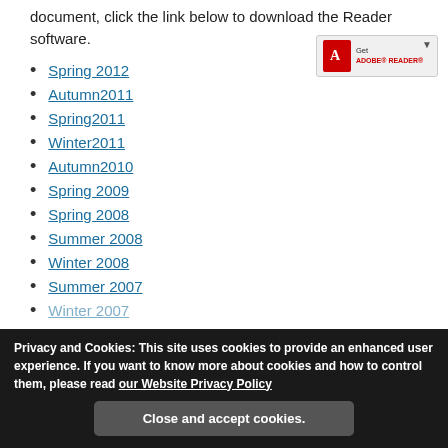document, click the link below to download the Reader software.
Spring 2012
Autumn2011
Spring2011
Winter2011
Autumn2010
Spring 2009
Spring 2008
Summer 2008
Winter 2008
Summer 2007
Winter 2007
[Figure (logo): Get Adobe Reader badge with red Adobe icon and download arrow]
Privacy and Cookies: This site uses cookies to provide an enhanced user experience. If you want to know more about cookies and how to control them, please read our Website Privacy Policy
Close and accept cookies.